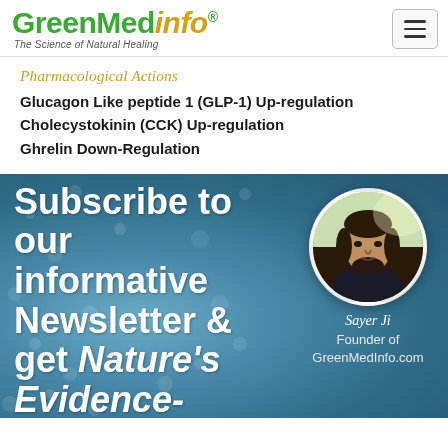GreenMedInfo® — The Science of Natural Healing
Pharmacological Actions
Glucagon Like peptide 1 (GLP-1) Up-regulation
Cholecystokinin (CCK) Up-regulation
Ghrelin Down-Regulation
[Figure (infographic): Subscribe to our informative Newsletter & get Nature's Evidence-Based — banner with photo of Sayer Ji, Founder of GreenMedInfo.com, on a blue pebbled background]